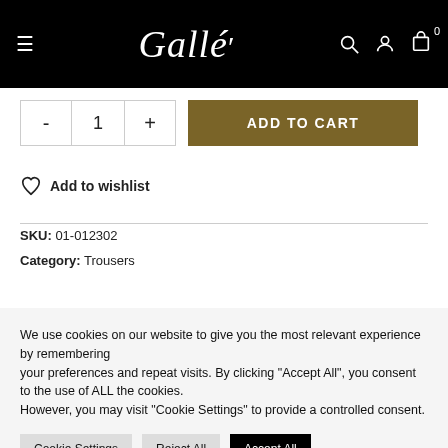Gallé — navigation bar with hamburger menu, logo, search, account, and cart icons
- 1 + ADD TO CART
Add to wishlist
SKU: 01-012302
Category: Trousers
We use cookies on our website to give you the most relevant experience by remembering your preferences and repeat visits. By clicking "Accept All", you consent to the use of ALL the cookies. However, you may visit "Cookie Settings" to provide a controlled consent.
Cookie Settings | Reject All | Accept All